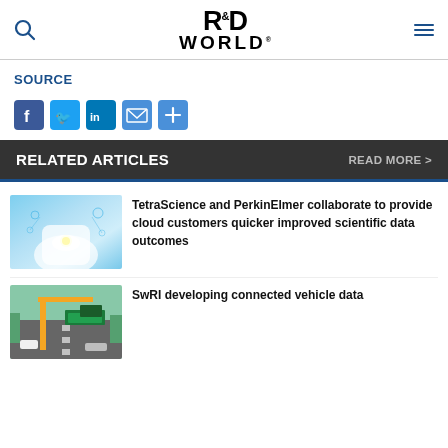[Figure (logo): R&D World logo with search icon and hamburger menu]
SOURCE
[Figure (infographic): Social sharing icons: Facebook, Twitter, LinkedIn, Email, Share]
RELATED ARTICLES    READ MORE >
[Figure (photo): Medical/science themed photo showing a person in lab coat with digital icons]
TetraScience and PerkinElmer collaborate to provide cloud customers quicker improved scientific data outcomes
[Figure (photo): Road/highway photo showing connected vehicle infrastructure]
SwRI developing connected vehicle data